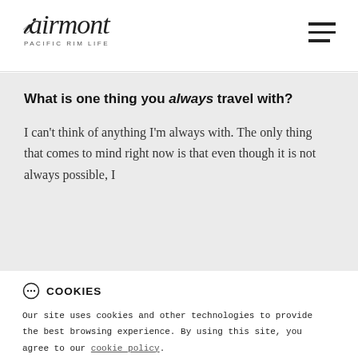Fairmont Pacific Rim Life
What is one thing you always travel with?
I can't think of anything I'm always with. The only thing that comes to mind right now is that even though it is not always possible, I
COOKIES
Our site uses cookies and other technologies to provide the best browsing experience. By using this site, you agree to our cookie policy.
I UNDERSTAND.